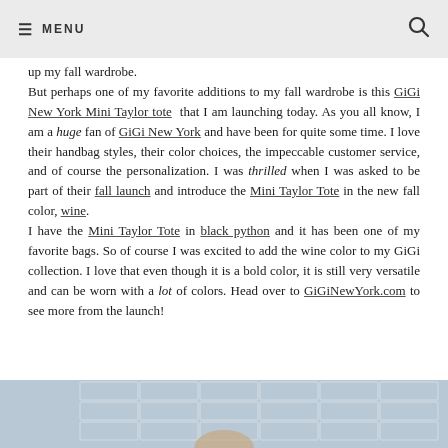≡ MENU
up my fall wardrobe. But perhaps one of my favorite additions to my fall wardrobe is this GiGi New York Mini Taylor tote that I am launching today. As you all know, I am a huge fan of GiGi New York and have been for quite some time. I love their handbag styles, their color choices, the impeccable customer service, and of course the personalization. I was thrilled when I was asked to be part of their fall launch and introduce the Mini Taylor Tote in the new fall color, wine. I have the Mini Taylor Tote in black python and it has been one of my favorite bags. So of course I was excited to add the wine color to my GiGi collection. I love that even though it is a bold color, it is still very versatile and can be worn with a lot of colors. Head over to GiGiNewYork.com to see more from the launch!
[Figure (photo): Photo of a person in front of a blue brick wall, partially visible at bottom of page]